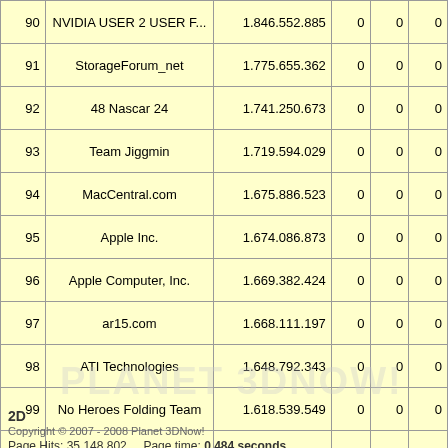| # | Name | Score | 0 | 0 | 0 |
| --- | --- | --- | --- | --- | --- |
| 90 | NVIDIA USER 2 USER F... | 1.846.552.885 | 0 | 0 | 0 |
| 91 | StorageForum_net | 1.775.655.362 | 0 | 0 | 0 |
| 92 | 48 Nascar 24 | 1.741.250.673 | 0 | 0 | 0 |
| 93 | Team Jiggmin | 1.719.594.029 | 0 | 0 | 0 |
| 94 | MacCentral.com | 1.675.886.523 | 0 | 0 | 0 |
| 95 | Apple Inc. | 1.674.086.873 | 0 | 0 | 0 |
| 96 | Apple Computer, Inc. | 1.669.382.424 | 0 | 0 | 0 |
| 97 | ar15.com | 1.668.111.197 | 0 | 0 | 0 |
| 98 | ATI Technologies | 1.648.792.343 | 0 | 0 | 0 |
| 99 | No Heroes Folding Team | 1.618.539.549 | 0 | 0 | 0 |
| 100 | Funfile f@h | 1.590.252.762 | 0 | 0 | 0 |
2D
Copyright © 2007 - 2008 Planet 3DNow!
Page Hits: 35.148.802    Page time: 0.484 seconds